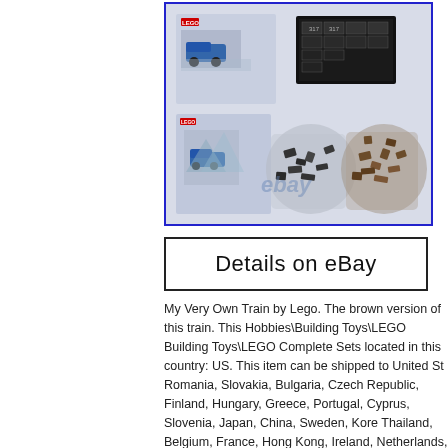[Figure (photo): LEGO My Very Own Train set product photo showing instruction booklets and bags of brown and dark grey LEGO pieces on a light blue/grey background, with a blue border. Watermark 'ebay' visible in center.]
Details on eBay
My Very Own Train by Lego. The brown version of this train. This Hobbies\Building Toys\LEGO Building Toys\LEGO Complete Sets located in this country: US. This item can be shipped to United St Romania, Slovakia, Bulgaria, Czech Republic, Finland, Hungary, Greece, Portugal, Cyprus, Slovenia, Japan, China, Sweden, Kore Thailand, Belgium, France, Hong Kong, Ireland, Netherlands, Pol Israel, Mexico, New Zealand, Philippines, Singapore, Switzerlanc Qatar, Kuwait, Bahrain, Croatia, Republic of, Malaysia, Chile, Col Tobago, Guatemala, Honduras, Jamaica, Antigua and Barbuda, A Nevis, Saint Lucia, Montserrat, Turks and Caicos Islands, Barbac Bolivia, Egypt, French Guiana, Guernsey, Gibraltar, Guadeloupe, Islands, Liechtenstein, Sri Lanka, Luxembourg, Monaco, Macau